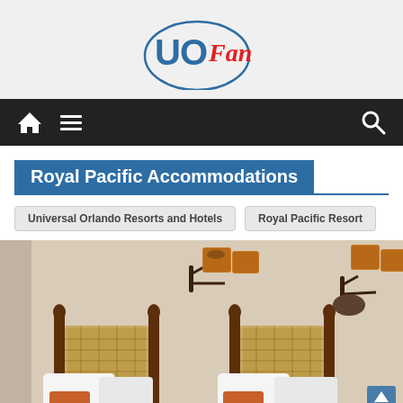[Figure (logo): UOFan logo: blue circle with 'UO' in bold blue and 'Fan' in red cursive script]
[Figure (other): Dark navigation bar with home icon, hamburger menu icon, and search icon]
Royal Pacific Accommodations
Universal Orlando Resorts and Hotels
Royal Pacific Resort
[Figure (photo): Hotel room photo showing two wooden bed headboards with cane weave panels, white pillows, orange accent pillows, and decorative wall sconces with tropical palm tree lamp shades on a cream-colored wall]